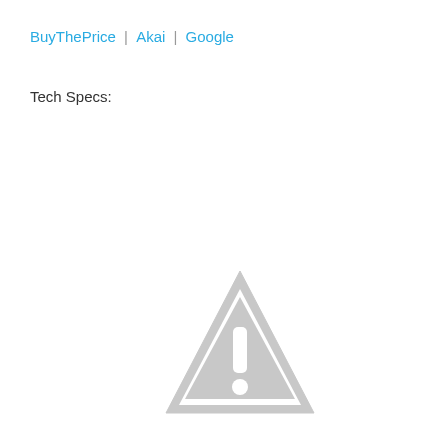BuyThePrice | Akai | Google
Tech Specs:
[Figure (illustration): Gray warning/caution triangle icon with exclamation mark, indicating missing or unavailable image]